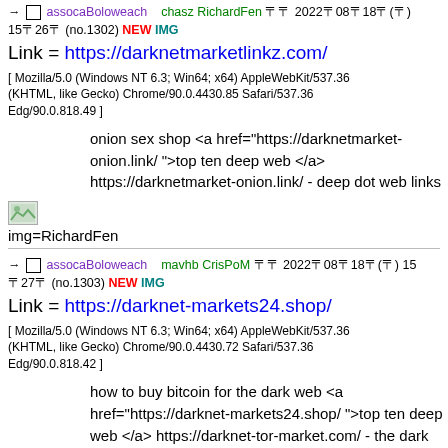→ □ assocaBoloweach    chasz RichardFen 〒〒 2022〒08〒18〒(〒) 15〒26〒 (no.1302) NEW IMG
Link = https://darknetmarketlinkz.com/
[ Mozilla/5.0 (Windows NT 6.3; Win64; x64) AppleWebKit/537.36 (KHTML, like Gecko) Chrome/90.0.4430.85 Safari/537.36 Edg/90.0.818.49 ]
onion sex shop <a href="https://darknetmarket-onion.link/ ">top ten deep web </a> https://darknetmarket-onion.link/ - deep dot web links
[Figure (illustration): Small broken image icon placeholder with img=RichardFen label]
→ □ assocaBoloweach    mavhb CrisPoM 〒〒 2022〒08〒18〒(〒) 15〒27〒 (no.1303) NEW IMG
Link = https://darknet-markets24.shop/
[ Mozilla/5.0 (Windows NT 6.3; Win64; x64) AppleWebKit/537.36 (KHTML, like Gecko) Chrome/90.0.4430.72 Safari/537.36 Edg/90.0.818.42 ]
how to buy bitcoin for the dark web <a href="https://darknet-markets24.shop/ ">top ten deep web </a> https://darknet-tor-market.com/ - the dark web url